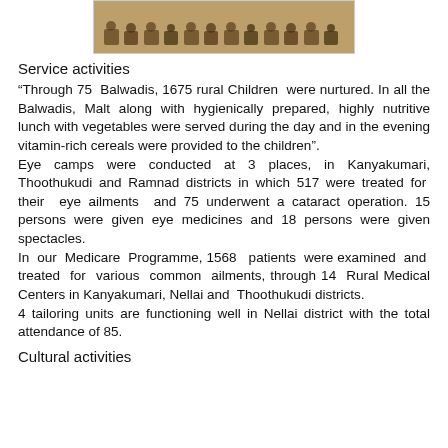[Figure (photo): A group of children sitting on the floor in rows, appearing to be in an educational or community setting.]
Service activities
“Through 75 Balwadis, 1675 rural Children were nurtured. In all the Balwadis, Malt along with hygienically prepared, highly nutritive lunch with vegetables were served during the day and in the evening vitamin-rich cereals were provided to the children”.
Eye camps were conducted at 3 places, in Kanyakumari, Thoothukudi and Ramnad districts in which 517 were treated for their eye ailments and 75 underwent a cataract operation. 15 persons were given eye medicines and 18 persons were given spectacles.
In our Medicare Programme, 1568 patients were examined and treated for various common ailments, through 14 Rural Medical Centers in Kanyakumari, Nellai and Thoothukudi districts.
4 tailoring units are functioning well in Nellai district with the total attendance of 85.
Cultural activities